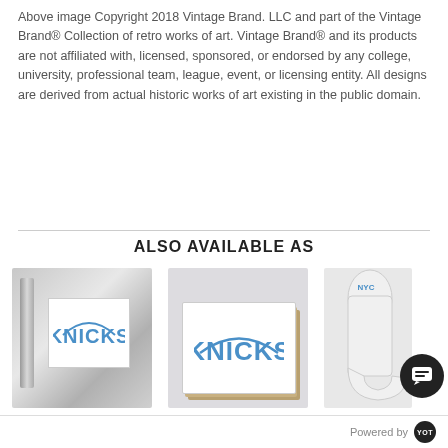Above image Copyright 2018 Vintage Brand. LLC and part of the Vintage Brand® Collection of retro works of art. Vintage Brand® and its products are not affiliated with, licensed, sponsored, or endorsed by any college, university, professional team, league, event, or licensing entity. All designs are derived from actual historic works of art existing in the public domain.
ALSO AVAILABLE AS
[Figure (photo): 1977 New York Knicks sticker on a metallic silver surface. White square sticker with 'KNICKS' arched text in blue.]
1977 New York Knicks ...
$3.50 $6.99
You Save: $3.49
[Figure (photo): 1977 New York Knicks coasters stacked. Square coasters with 'KNICKS' arched text in blue on white.]
1977 New York Knicks ...
$16.40 $32.79
You Save: $16.39
[Figure (photo): Partial image of 1977 New York Knicks socks on white background.]
1977 N...Yor
Powered by YOT